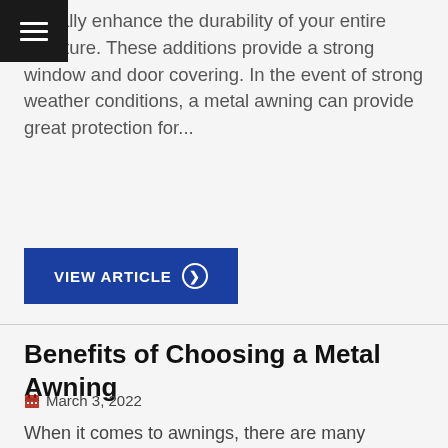[Figure (other): Hamburger menu icon (three horizontal lines) on dark background in top-left corner]
actually enhance the durability of your entire structure. These additions provide a strong window and door covering. In the event of strong weather conditions, a metal awning can provide great protection for...
VIEW ARTICLE ❯
Benefits of Choosing a Metal Awning
📅 March 3, 2022
When it comes to awnings, there are many materials to choose from. One of the most popular options is metal. Metal awnings come in a variety of